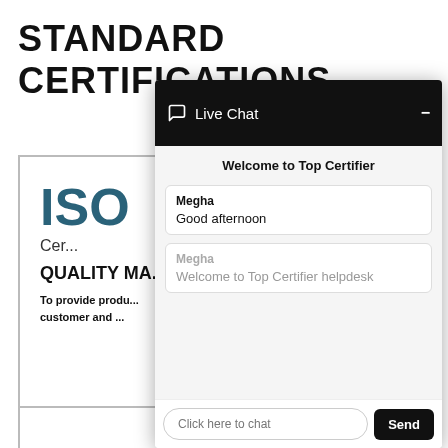STANDARD CERTIFICATIONS
[Figure (screenshot): ISO certificate card partially visible behind live chat overlay, showing 'ISO' in large teal text, 'Cer...' label, 'QUALITY MA...' heading, and 'To provide produ... customer and...' text]
[Figure (screenshot): Live Chat overlay window with dark header showing chat bubble icon and 'Live Chat' label with minimize button. Body shows 'Welcome to Top Certifier' greeting, two chat messages from 'Megha': 'Good afternoon' and 'Welcome to Top Certifier helpdesk'. Footer has 'Click here to chat' input and 'Send' button.]